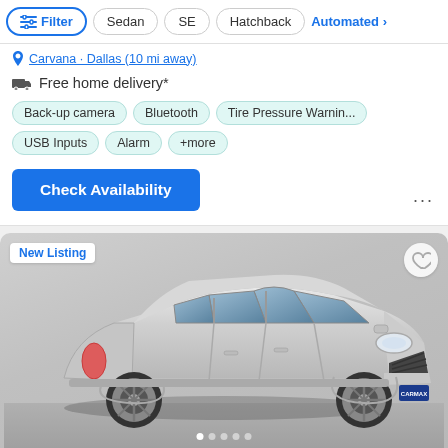Filter | Sedan | SE | Hatchback | Automated
Carvana · Dallas (10 mi away)
Free home delivery*
Back-up camera
Bluetooth
Tire Pressure Warnin...
USB Inputs
Alarm
+more
Check Availability
[Figure (photo): Silver Ford Fiesta hatchback, front three-quarter view, CarMax dealership photo. 'New Listing' badge in top left corner, heart/save icon in top right. Pagination dots at bottom.]